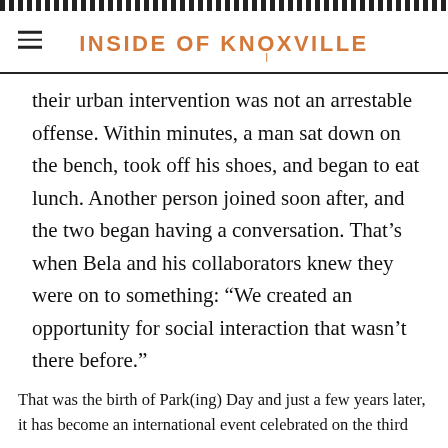INSIDE OF KNOXVILLE
their urban intervention was not an arrestable offense. Within minutes, a man sat down on the bench, took off his shoes, and began to eat lunch. Another person joined soon after, and the two began having a conversation. That's when Bela and his collaborators knew they were on to something: “We created an opportunity for social interaction that wasn’t there before.”
That was the birth of Park(ing) Day and just a few years later, it has become an international event celebrated on the third